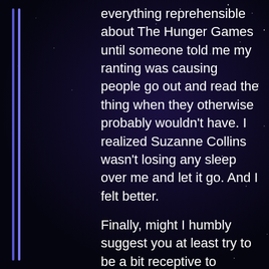everything reprehensible about The Hunger Games until someone told me my ranting was causing people go out and read the thing when they otherwise probably wouldn't have. I realized Suzanne Collins wasn't losing any sleep over me and let it go. And I felt better.
Finally, might I humbly suggest you at least try to be a bit receptive to attempts to reach consensus. I was criticized for not having read the blog, but when I did so, you jumped on me for not reading it properly. When I had a blog, I was overjoyed when anyone was engaged enough to want to respond, and I would thank them effusively for their